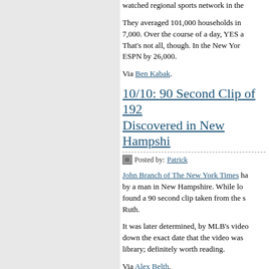watched regional sports network in the...
They averaged 101,000 households in... 7,000. Over the course of a day, YES a... That's not all, though. In the New Yor... ESPN by 26,000.
Via Ben Kabak.
10/10: 90 Second Clip of 192... Discovered in New Hampshi...
Posted by: Patrick
John Branch of The New York Times ha... by a man in New Hampshire. While lo... found a 90 second clip taken from the s... Ruth.
It was later determined, by MLB's video... down the exact date that the video was... library; definitely worth reading.
Via Alex Belth.
10/10: Things Still Looking G...
Posted by: Patrick
At the start of September, Alex Rodrigu...